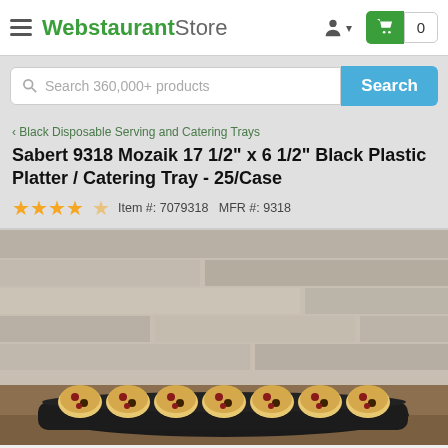WebstaurantStore
Search 360,000+ products
< Black Disposable Serving and Catering Trays
Sabert 9318 Mozaik 17 1/2" x 6 1/2" Black Plastic Platter / Catering Tray - 25/Case
Item #: 7079318   MFR #: 9318
[Figure (photo): A long narrow black plastic platter/catering tray holding cranberry-chocolate chip scones or biscuits, displayed on a wooden surface against a wood-plank background wall.]